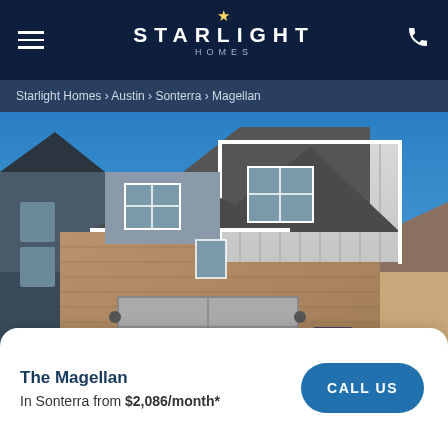STARLIGHT HOMES
Starlight Homes › Austin › Sonterra › Magellan
[Figure (photo): Exterior photo of a two-story new construction home with brick lower level, board-and-batten upper siding, two-car garage, and clear blue sky background. Located in Sonterra community (Austin, TX).]
The Magellan
In Sonterra from $2,086/month*
CALL US